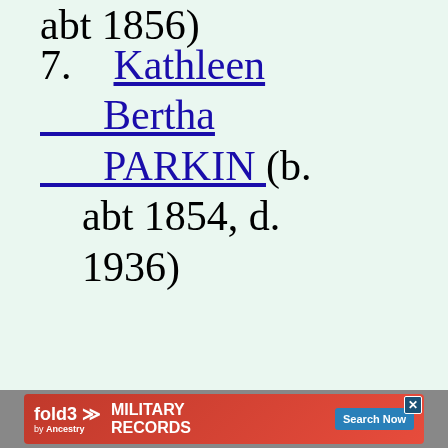abt 1856)
7. Kathleen Bertha PARKIN (b. abt 1854, d. 1936)
[Figure (other): Advertisement banner for fold3 Military Records by Ancestry with Search Now button]